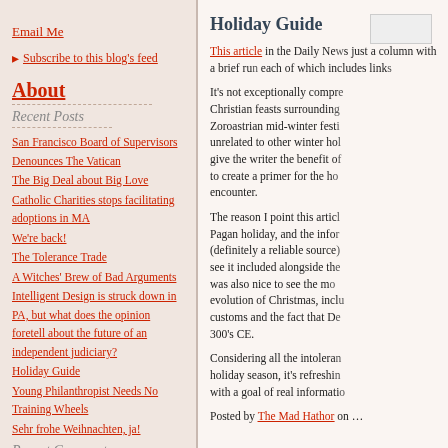Email Me
Subscribe to this blog's feed
About
Recent Posts
San Francisco Board of Supervisors Denounces The Vatican
The Big Deal about Big Love
Catholic Charities stops facilitating adoptions in MA
We're back!
The Tolerance Trade
A Witches' Brew of Bad Arguments
Intelligent Design is struck down in PA, but what does the opinion foretell about the future of an independent judiciary?
Holiday Guide
Young Philanthropist Needs No Training Wheels
Sehr frohe Weihnachten, ja!
Recent Comments
catymopifex on The Entirely Unlike Voodoo Murders of Pennsylvania
catymopifex on The Entirely Unlike
Holiday Guide
This article in the Daily Ne... just a column with a brief ru... each of which includes link...
It's not exceptionally compr... Christian feasts surroundin... Zoroastrian mid-winter fest... unrelated to other winter ho... give the writer the benefit o... to create a primer for the h... encounter.
The reason I point this artic... Pagan holiday, and the info... (definitely a reliable source... see it included alongside th... was also nice to see the m... evolution of Christmas, incl... customs and the fact that D... 300's CE.
Considering all the intolera... holiday season, it's refreshi... with a goal of real informati...
Posted by The Mad Hathor on ...